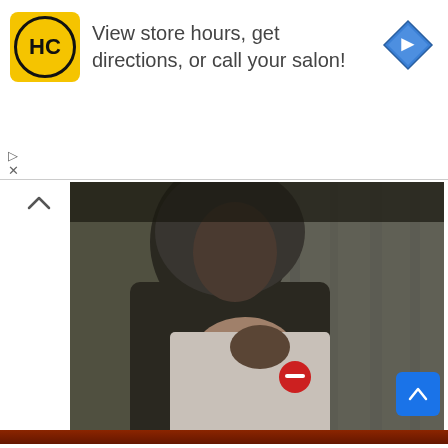[Figure (infographic): Advertisement banner for HC salon: yellow HC logo on left, arrow navigation icon on right, text 'View store hours, get directions, or call your salon!']
[Figure (photo): A person wearing a hijab and white shirt with a red badge/pin, photographed from below in dark tones]
[Figure (logo): Sahara Reporters logo: dark square with white SR letters and orange underline bar]
Sahara Reporters ✓
2023: Nigerians Will Use Me And My Running Mate From Southern Nigeria To Defeat Tinubu, Atiku – Kwankwaso | Sahara Reporters.
[Figure (photo): Bottom strip of a reddish-brown photo partially visible at the bottom of the page]